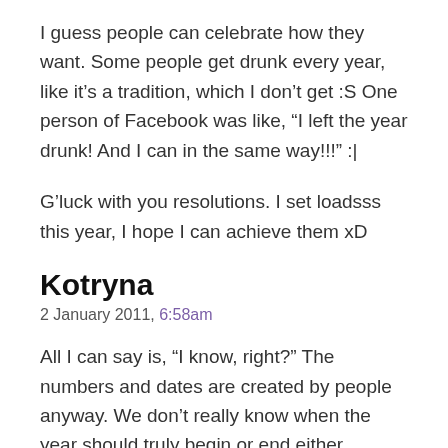I guess people can celebrate how they want. Some people get drunk every year, like it’s a tradition, which I don’t get :S One person of Facebook was like, “I left the year drunk! And I can in the same way!!!” :|
G’luck with you resolutions. I set loadsss this year, I hope I can achieve them xD
Kotryna
2 January 2011, 6:58am
All I can say is, “I know, right?” The numbers and dates are created by people anyway. We don’t really know when the year should truly begin or end either